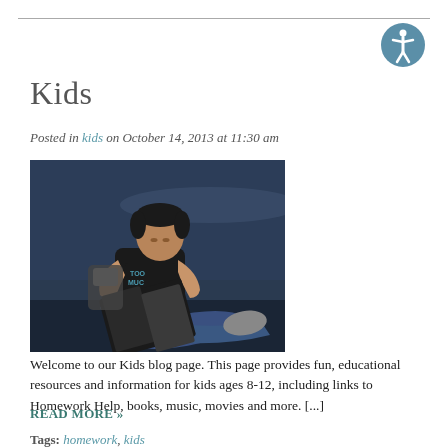Kids
Posted in kids on October 14, 2013 at 11:30 am
[Figure (photo): A boy sitting and reading a book, wearing a dark t-shirt and jeans, against a dark background]
Welcome to our Kids blog page. This page provides fun, educational resources and information for kids ages 8-12, including links to Homework Help, books, music, movies and more. [...]
READ MORE »
Tags: homework, kids